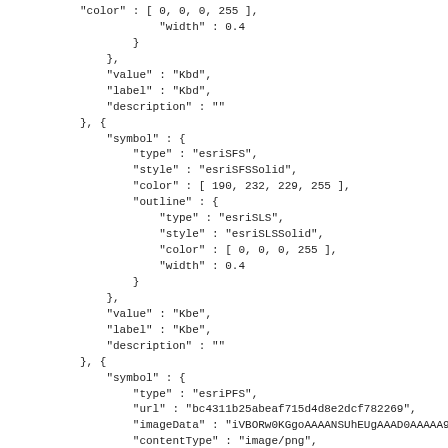"color" : [ 0, 0, 0, 255 ],
            "width" : 0.4
        }
    },
    "value" : "Kbd",
    "label" : "Kbd",
    "description" : ""
}, {
    "symbol" : {
        "type" : "esriSFS",
        "style" : "esriSFSSolid",
        "color" : [ 190, 232, 229, 255 ],
        "outline" : {
            "type" : "esriSLS",
            "style" : "esriSLSSolid",
            "color" : [ 0, 0, 0, 255 ],
            "width" : 0.4
        }
    },
    "value" : "Kbe",
    "label" : "Kbe",
    "description" : ""
}, {
    "symbol" : {
        "type" : "esriPFS",
        "url" : "bc4311b25abeaf715d4d8e2dcf782269",
        "imageData" : "iVBORw0KGgoAAAANSUhEUgAAAD0AAAAA9CAYAAAA4eYN
        "contentType" : "image/png",
        "outline" : {
            "type" : "esriSLS",
            "style" : "esriSLSSolid",
            "color" : [ 0, 0, 0, 255 ],
            "width" : 0.4
        },
        "width" : 45.75,
        "height" : 45.75,
        "angle" : 0,